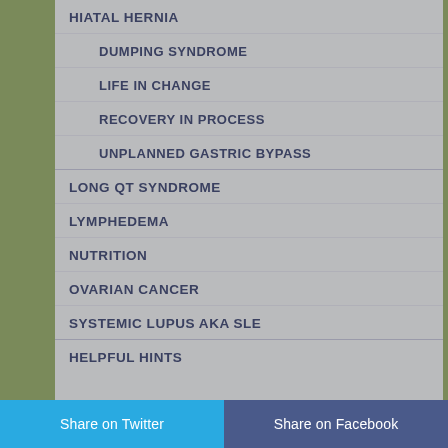HIATAL HERNIA
DUMPING SYNDROME
LIFE IN CHANGE
RECOVERY IN PROCESS
UNPLANNED GASTRIC BYPASS
LONG QT SYNDROME
LYMPHEDEMA
NUTRITION
OVARIAN CANCER
SYSTEMIC LUPUS aka SLE
HELPFUL HINTS
Share on Twitter   Share on Facebook